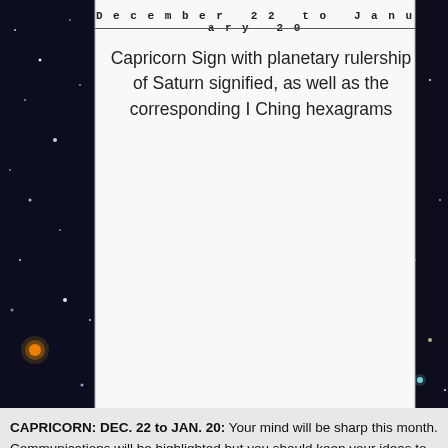[Figure (illustration): Space/star field background image with dark sky, colorful stars and galaxies visible on left and right sides of the page]
December 22 to January 20
Capricorn Sign with planetary rulership of Saturn signified, as well as the corresponding I Ching hexagrams
CAPRICORN: DEC. 22 to JAN. 20: Your mind will be sharp this month. Communications will be highlighted but you should keep your ideas to yourself and act on them silently. If you do not draw too much attention to yourself you should be able to succeed in most adventures that you undertake. This is a month of smooth moves!
The New Moon Jan. 10 will be the most sensitive lunation of the year for Capricorns.